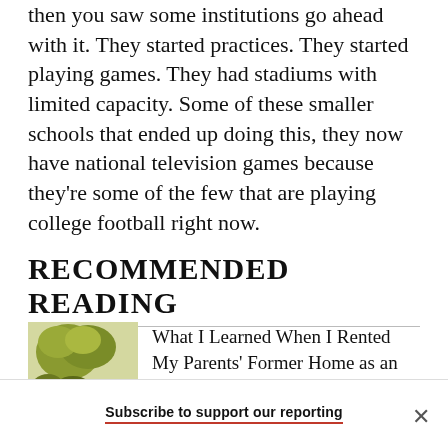then you saw some institutions go ahead with it. They started practices. They started playing games. They had stadiums with limited capacity. Some of these smaller schools that ended up doing this, they now have national television games because they're some of the few that are playing college football right now.
RECOMMENDED READING
[Figure (photo): Thumbnail photo showing trees or foliage against a light background]
What I Learned When I Rented My Parents' Former Home as an Airbnb
Subscribe to support our reporting